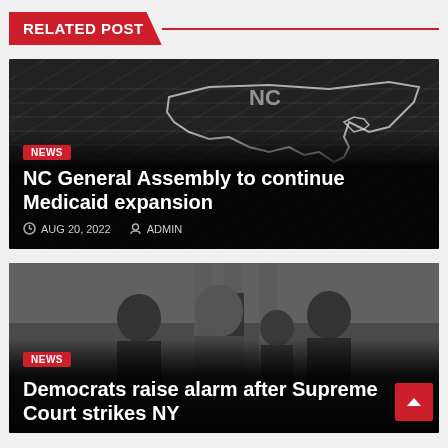RELATED POST
[Figure (photo): Dark background with NC state map outline showing North Carolina outline in white on dark newspaper-style background. NEWS badge in red. Title: NC General Assembly to continue Medicaid expansion. Date: AUG 20, 2022. Author: ADMIN.]
NC General Assembly to continue Medicaid expansion
AUG 20, 2022   ADMIN
[Figure (photo): Photo of three men in suits and masks standing in front of columns of a government building, likely the Supreme Court. NEWS badge in red. Title: Democrats raise alarm after Supreme Court strikes NY...]